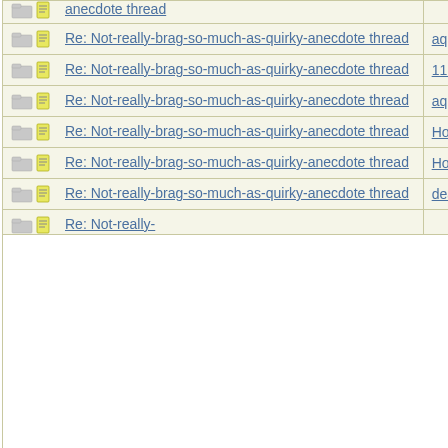| Topic | Author |
| --- | --- |
| Re: Not-really-brag-so-much-as-quirky-anecdote thread | aquinas |
| Re: Not-really-brag-so-much-as-quirky-anecdote thread | 1111 |
| Re: Not-really-brag-so-much-as-quirky-anecdote thread | aquinas |
| Re: Not-really-brag-so-much-as-quirky-anecdote thread | HowlerKa |
| Re: Not-really-brag-so-much-as-quirky-anecdote thread | HowlerKa |
| Re: Not-really-brag-so-much-as-quirky-anecdote thread | deacongi |
| Re: Not-really- |  |